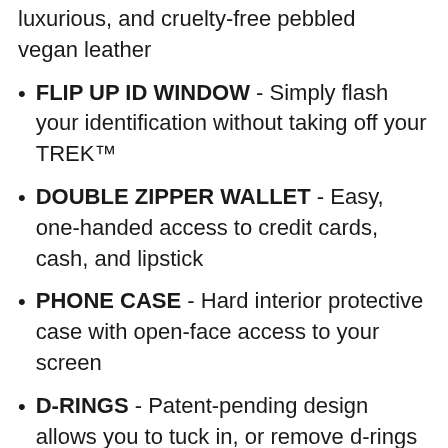luxurious, and cruelty-free pebbled vegan leather
FLIP UP ID WINDOW - Simply flash your identification without taking off your TREK™
DOUBLE ZIPPER WALLET - Easy, one-handed access to credit cards, cash, and lipstick
PHONE CASE - Hard interior protective case with open-face access to your screen
D-RINGS - Patent-pending design allows you to tuck in, or remove d-rings for case + wallet-only function